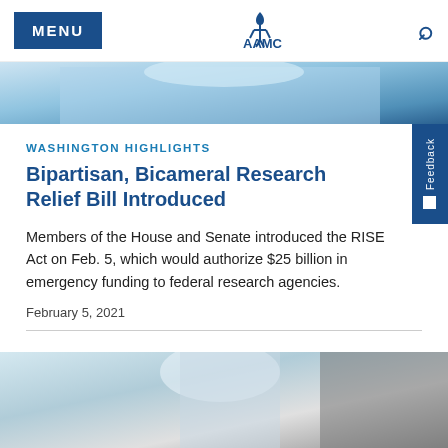MENU | AAMC
[Figure (photo): Close-up photo of a healthcare worker in blue surgical gloves and coat, partial crop showing top portion]
WASHINGTON HIGHLIGHTS
Bipartisan, Bicameral Research Relief Bill Introduced
Members of the House and Senate introduced the RISE Act on Feb. 5, which would authorize $25 billion in emergency funding to federal research agencies.
February 5, 2021
[Figure (photo): Photo of a healthcare worker in full PPE protective suit and mask, standing near a blue curtain]